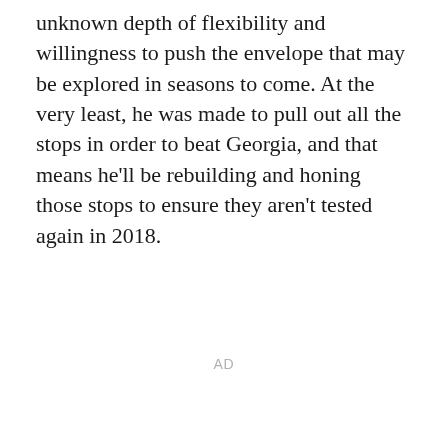unknown depth of flexibility and willingness to push the envelope that may be explored in seasons to come. At the very least, he was made to pull out all the stops in order to beat Georgia, and that means he'll be rebuilding and honing those stops to ensure they aren't tested again in 2018.
AD